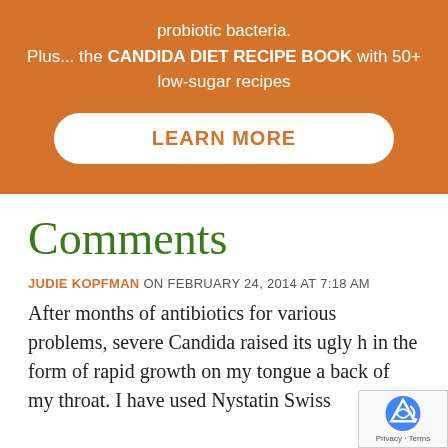probiotic bacteria. Plus... the CANDIDA DIET RECIPE BOOK with 50+ low-sugar recipes
[Figure (other): LEARN MORE button — white pill-shaped button on orange background]
Comments
JUDIE KOPFMAN ON FEBRUARY 24, 2014 AT 7:18 AM
After months of antibiotics for various problems, severe Candida raised its ugly h... in the form of rapid growth on my tongue a... back of my throat. I have used Nystatin Swiss